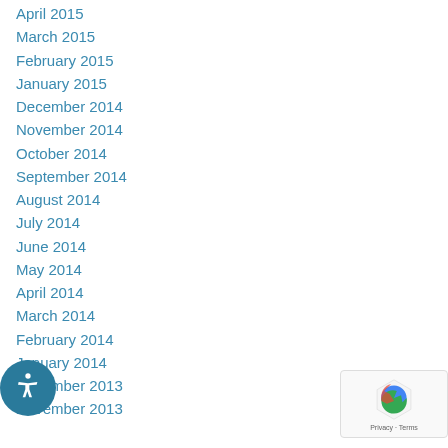April 2015
March 2015
February 2015
January 2015
December 2014
November 2014
October 2014
September 2014
August 2014
July 2014
June 2014
May 2014
April 2014
March 2014
February 2014
January 2014
December 2013
November 2013